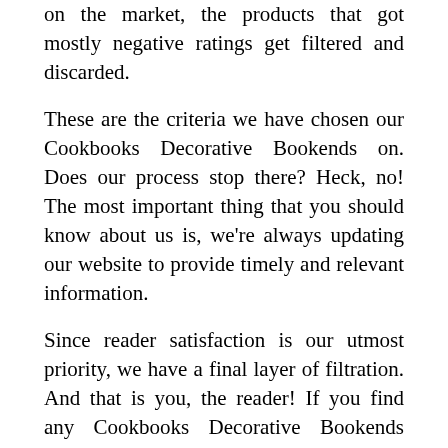on the market, the products that got mostly negative ratings get filtered and discarded.
These are the criteria we have chosen our Cookbooks Decorative Bookends on. Does our process stop there? Heck, no! The most important thing that you should know about us is, we're always updating our website to provide timely and relevant information.
Since reader satisfaction is our utmost priority, we have a final layer of filtration. And that is you, the reader! If you find any Cookbooks Decorative Bookends featured here Incorrect, irrelevant, not up to the mark, or simply outdated, please let us know. Your feedback is always welcome and we'll try to promptly correct our list as per your reasonable